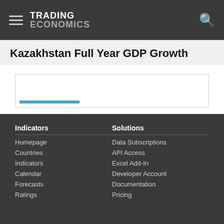TRADING ECONOMICS
Kazakhstan Full Year GDP Growth
[Figure (other): Chart area stub with a teal/blue horizontal bar indicator, partially visible chart]
Indicators
Homepage
Countries
Indicators
Calendar
Forecasts
Ratings
Solutions
Data Subscriptions
API Access
Excel Add-In
Developer Account
Documentation
Pricing